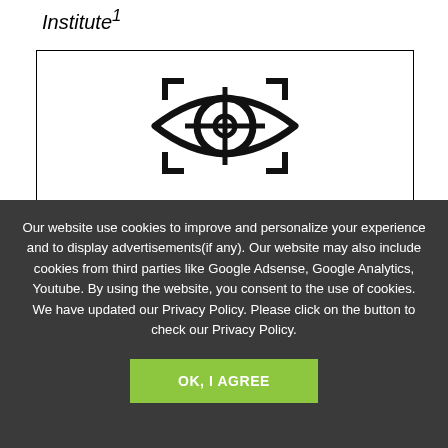Institute¹
[Figure (illustration): An eye icon with crosshair/targeting overlay inside a bordered box, representing visual tracking or eye-tracking concept.]
Our website use cookies to improve and personalize your experience and to display advertisements(if any). Our website may also include cookies from third parties like Google Adsense, Google Analytics, Youtube. By using the website, you consent to the use of cookies. We have updated our Privacy Policy. Please click on the button to check our Privacy Policy.
OK, I AGREE